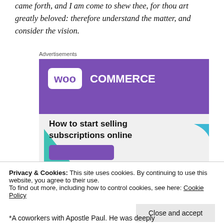came forth, and I am come to shew thee, for thou art greatly beloved: therefore understand the matter, and consider the vision.
Advertisements
[Figure (screenshot): WooCommerce advertisement banner showing 'How to start selling subscriptions online' with purple and teal design elements on a light grey background.]
Privacy & Cookies: This site uses cookies. By continuing to use this website, you agree to their use.
To find out more, including how to control cookies, see here: Cookie Policy
*A coworkers with Apostle Paul. He was deeply